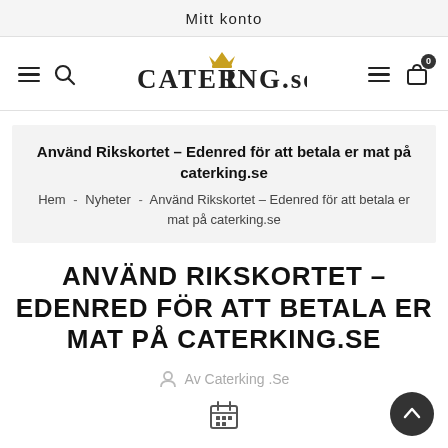Mitt konto
[Figure (logo): CaterKing.se logo with crown above K, hamburger menu icons and search icon on left, cart icon with badge 0 on right]
Använd Rikskortet – Edenred för att betala er mat på caterking.se
Hem - Nyheter - Använd Rikskortet – Edenred för att betala er mat på caterking.se
ANVÄND RIKSKORTET – EDENRED FÖR ATT BETALA ER MAT PÅ CATERKING.SE
Av Caterking .Se